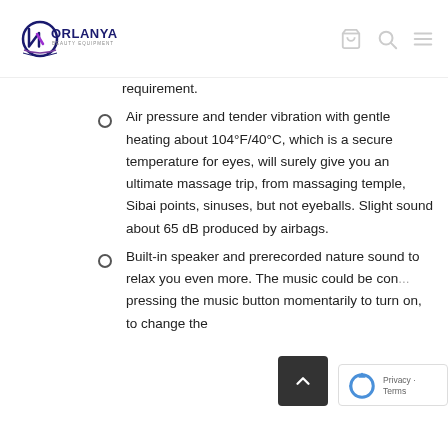Norlanya Beauty Equipment
requirement.
Air pressure and tender vibration with gentle heating about 104°F/40°C, which is a secure temperature for eyes, will surely give you an ultimate massage trip, from massaging temple, Sibai points, sinuses, but not eyeballs. Slight sound about 65 dB produced by airbags.
Built-in speaker and prerecorded nature sound to relax you even more. The music could be con... pressing the music button momentarily to turn on, to change the